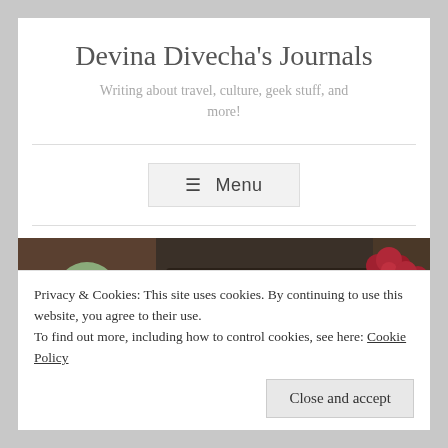Devina Divecha's Journals
Writing about travel, culture, geek stuff, and more!
≡ Menu
[Figure (photo): Header photo showing a typewriter with keys visible in center, a succulent plant on the left, and red roses on the right, all on a wooden surface.]
Privacy & Cookies: This site uses cookies. By continuing to use this website, you agree to their use.
To find out more, including how to control cookies, see here: Cookie Policy
Close and accept
Visiting the Wagan Border